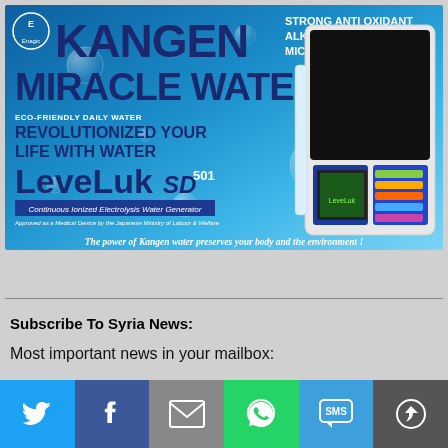[Figure (illustration): Kangen Miracle Water advertisement banner by Enagic featuring LeveLuk SD 501 water ionizer machine against a blue water background. Text reads: KANGEN MIRACLE WATER, STRONG ANTI OXIDANT, ALKALINE pH 8.5-9.5, MICRO CLUSTER WATER, ECO-FRIENDLY DAILY WATER, REVOLUTIONIZED YOUR LIFE WITH WATER, LeveLuk SD 501, Continuous Ionized Electrolysis Water Generator, Approved as a Medical Device by the Japanese Ministry of Labour & Welfare, The power of Kangen water preserves your body and the environment!]
Subscribe To Syria News:
Most important news in your mailbox:
[Figure (infographic): Row of six social media sharing buttons: Twitter (blue), Facebook (dark blue), Email (grey), WhatsApp (green), SMS (light blue), More/Share (dark grey)]